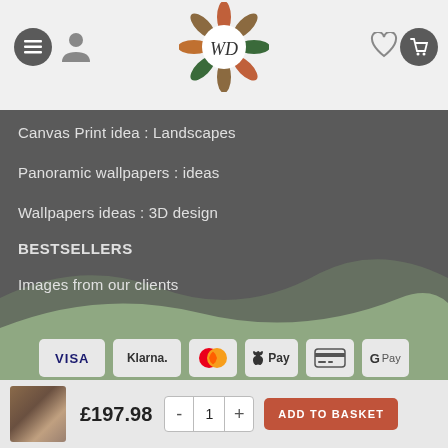WD logo, menu, user, heart, cart navigation header
Canvas Print idea : Landscapes
Panoramic wallpapers : ideas
Wallpapers ideas : 3D design
BESTSELLERS
Images from our clients
[Figure (other): Payment method icons: VISA, Klarna, MasterCard, Apple Pay, credit card, G Pay]
WALLDESIGNERS Uk is a trading name of Worldofwomen Ltd. Company number 12914212. Copyright © 2016 - 2022. All rights reserved.
£197.98  - 1 +  ADD TO BASKET